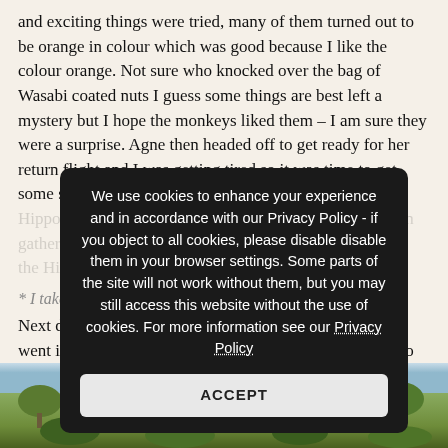and exciting things were tried, many of them turned out to be orange in colour which was good because I like the colour orange. Not sure who knocked over the bag of Wasabi coated nuts I guess some things are best left a mystery but I hope the monkeys liked them – I am sure they were a surprise. Agne then headed off to get ready for her return flight and I was getting tired so it was time to get some sleep to the sound of Hippos doing whatever it is Hippos do at 9pm. I slept great that night, from what I can gather Agne had a good nights sleep, no noise apart from the Hippos.
* I take it this is a polite way to say no the snoring? 😉
Next day I saw my first Elephant outside the lodge as we went into Livingstone to do some chores and take Agne to the Airport.
[Figure (photo): Outdoor landscape photo showing trees and vegetation with a light sky, taken at a wildlife/nature lodge area.]
We use cookies to enhance your experience and in accordance with our Privacy Policy - if you object to all cookies, please disable disable them in your browser settings. Some parts of the site will not work without them, but you may still access this website without the use of cookies. For more information see our Privacy Policy